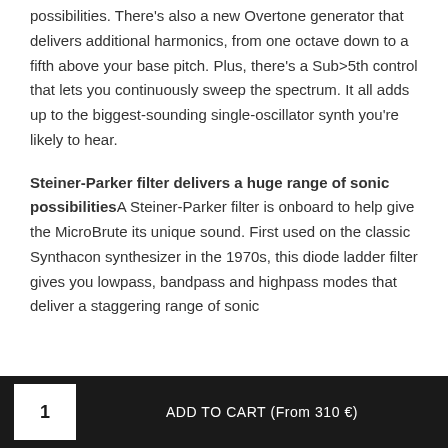possibilities. There's also a new Overtone generator that delivers additional harmonics, from one octave down to a fifth above your base pitch. Plus, there's a Sub>5th control that lets you continuously sweep the spectrum. It all adds up to the biggest-sounding single-oscillator synth you're likely to hear.
Steiner-Parker filter delivers a huge range of sonic possibilitiesA Steiner-Parker filter is onboard to help give the MicroBrute its unique sound. First used on the classic Synthacon synthesizer in the 1970s, this diode ladder filter gives you lowpass, bandpass and highpass modes that deliver a staggering range of sonic
1   ADD TO CART (From 310 €)